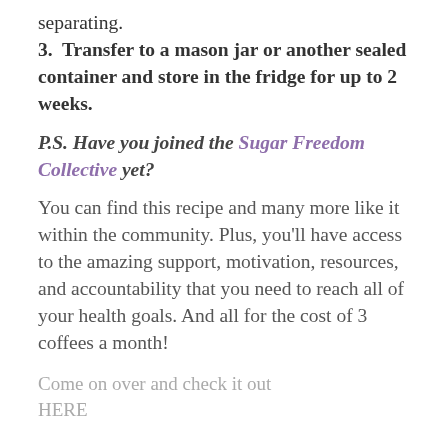separating.
3.  Transfer to a mason jar or another sealed container and store in the fridge for up to 2 weeks.
P.S. Have you joined the Sugar Freedom Collective yet?
You can find this recipe and many more like it within the community. Plus, you’ll have access to the amazing support, motivation, resources, and accountability that you need to reach all of your health goals. And all for the cost of 3 coffees a month!
Come on over and check it out HERE